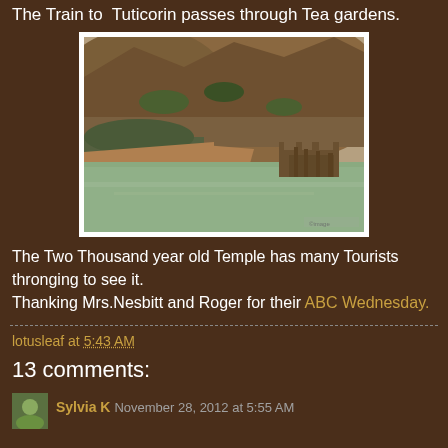The Train to Tuticorin passes through Tea gardens.
[Figure (photo): A lake or reservoir with greenish water, a hillside covered with dry brown vegetation in the background, and what appears to be temple ruins or structures at the water's edge on the right side.]
The Two Thousand year old Temple has many Tourists thronging to see it.
Thanking Mrs.Nesbitt and Roger for their ABC Wednesday.
lotusleaf at 5:43 AM
13 comments:
Sylvia K  November 28, 2012 at 5:55 AM